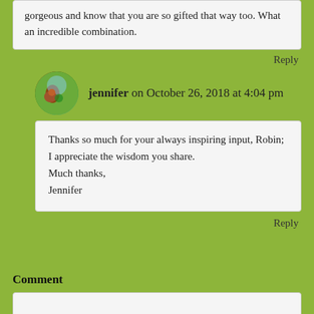gorgeous and know that you are so gifted that way too. What an incredible combination.
Reply
jennifer on October 26, 2018 at 4:04 pm
Thanks so much for your always inspiring input, Robin; I appreciate the wisdom you share.
Much thanks,
Jennifer
Reply
Comment